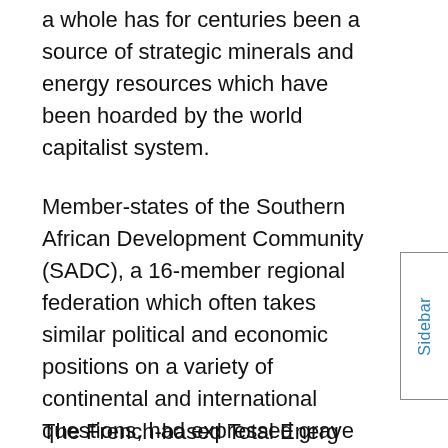a whole has for centuries been a source of strategic minerals and energy resources which have been hoarded by the world capitalist system.
Member-states of the Southern African Development Community (SADC), a 16-member regional federation which often takes similar political and economic positions on a variety of continental and international questions, had expressed grave concerns about the increasing instability in Mozambique. Later the government of the East African state of Rwanda offered assistance to Maputo in fighting the al-Shabaab rebels.
The French-based Total Energy...